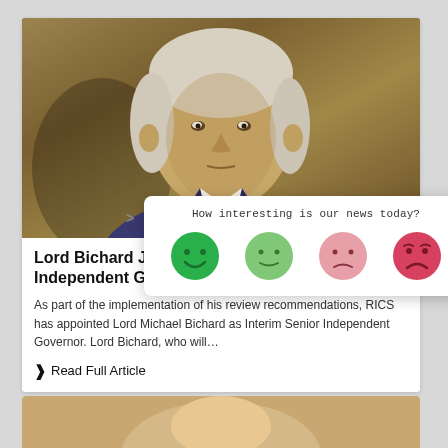[Figure (photo): Elderly man with white hair in a dark jacket, photographed against a wood-panel background; appears to be at a formal hearing or meeting]
[Figure (screenshot): Rating widget popup asking 'How interesting is our news today?' with four emoji faces ranging from dark green happy to red sad]
Lord Bichard Joins N Independent Govern
As part of the implementation of his review recommendations, RICS has appointed Lord Michael Bichard as Interim Senior Independent Governor. Lord Bichard, who will…
> Read Full Article
[Figure (photo): Bottom portion of a second article showing a person's head/shoulder area]